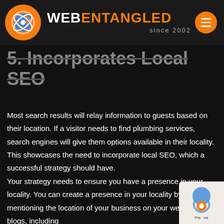WEBENTANGLED since 2002
5. Incorporates Local SEO
Most search results will relay information to guests based on their location. If a visitor needs to find plumbing services, search engines will give them options available in their locality. This showcases the need to incorporate local SEO, which a successful strategy should have.
Your strategy needs to ensure you have a presence in your locality. You can create a presence in your locality by mentioning the location of your business on your website and blogs, including